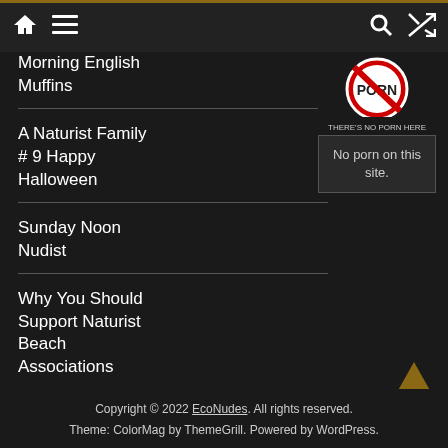Navigation bar with home, menu, search, and shuffle icons
Morning English Muffins
A Naturist Family # 9 Happy Halloween
Sunday Noon Nudist
Why You Should Support Naturist Beach Associations
Body as Temple
[Figure (photo): Image with text PORN crossed out and text THERE'S NO PORN HERE]
No porn on this site.
Copyright © 2022 EcoNudes. All rights reserved. Theme: ColorMag by ThemeGrill. Powered by WordPress.